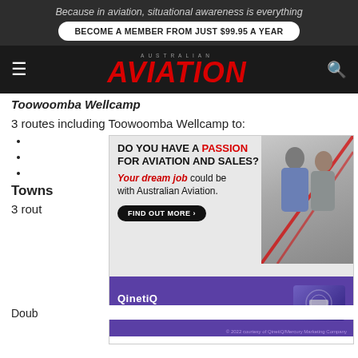Because in aviation, situational awareness is everything
BECOME A MEMBER FROM JUST $99.95 A YEAR
[Figure (logo): Australian Aviation logo with AUSTRALIAN above AVIATION in large red italic bold text]
Toowoomba Wellcamp
3 routes including Toowoomba Wellcamp to:
M
F
W
Towns
3 rout
[Figure (advertisement): Australian Aviation job advertisement: 'DO YOU HAVE A PASSION FOR AVIATION AND SALES? Your dream job could be with Australian Aviation. FIND OUT MORE' with photo of two people and QinetiQ 'Enabling critical UAS technologies' banner at bottom]
Doub